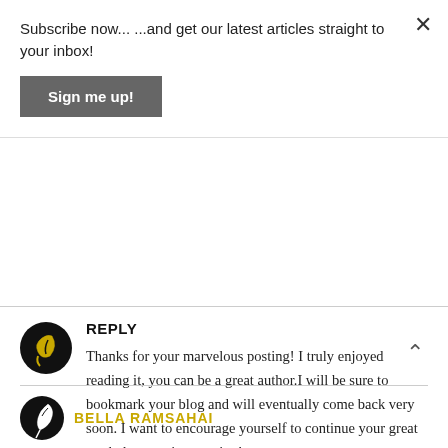Subscribe now... ...and get our latest articles straight to your inbox!
Sign me up!
REPLY
Thanks for your marvelous posting! I truly enjoyed reading it, you can be a great author.I will be sure to bookmark your blog and will eventually come back very soon. I want to encourage yourself to continue your great work, have a nice evening!
BELLA RAMSAHAI